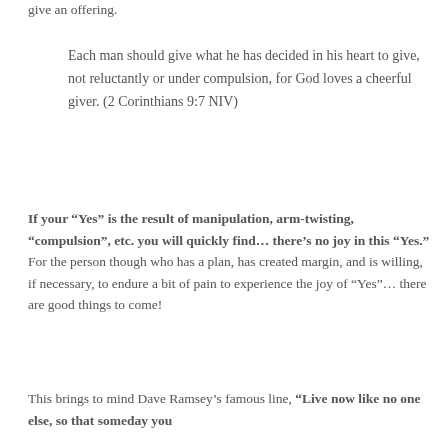give an offering.
Each man should give what he has decided in his heart to give, not reluctantly or under compulsion, for God loves a cheerful giver. (2 Corinthians 9:7 NIV)
If your “Yes” is the result of manipulation, arm-twisting, “compulsion”, etc. you will quickly find… there’s no joy in this “Yes.” For the person though who has a plan, has created margin, and is willing, if necessary, to endure a bit of pain to experience the joy of "Yes"… there are good things to come!
This brings to mind Dave Ramsey’s famous line, “Live now like no one else, so that someday you